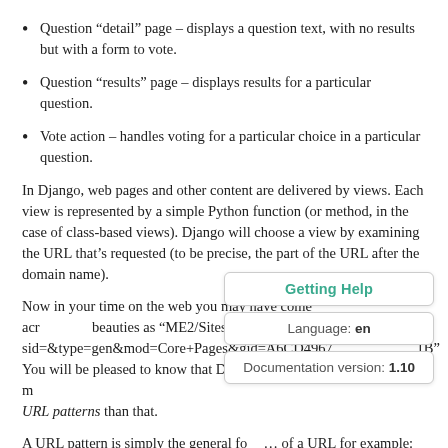Question “detail” page – displays a question text, with no results but with a form to vote.
Question “results” page – displays results for a particular question.
Vote action – handles voting for a particular choice in a particular question.
In Django, web pages and other content are delivered by views. Each view is represented by a simple Python function (or method, in the case of class-based views). Django will choose a view by examining the URL that’s requested (to be precise, the part of the URL after the domain name).
Now in your time on the web you may have come acr... beauties as "ME2/Sites/dirmod.asp? sid=&type=gen&mod=Core+Pages&gid=A6CD4967...1B" You will be pleased to know that Django allows us m... at URL patterns than that.
A URL pattern is simply the general fo... of a URL for example: /newsarchive/<year>/<month>/.